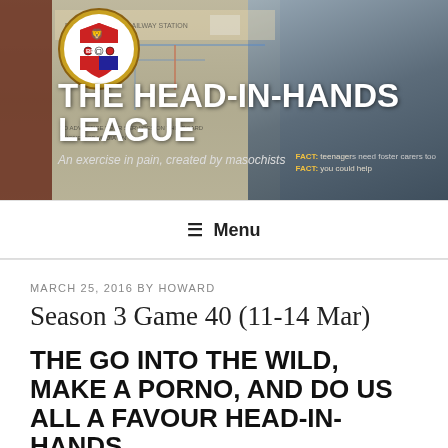[Figure (photo): Website header banner showing a collage of photos including a railway station map/noticeboard and a person covering their face with their hands, overlaid with the site logo and title text.]
THE HEAD-IN-HANDS LEAGUE
An exercise in pain, created by masochists
≡ Menu
MARCH 25, 2016 BY HOWARD
Season 3 Game 40 (11-14 Mar)
THE GO INTO THE WILD, MAKE A PORNO, AND DO US ALL A FAVOUR HEAD-IN-HANDS